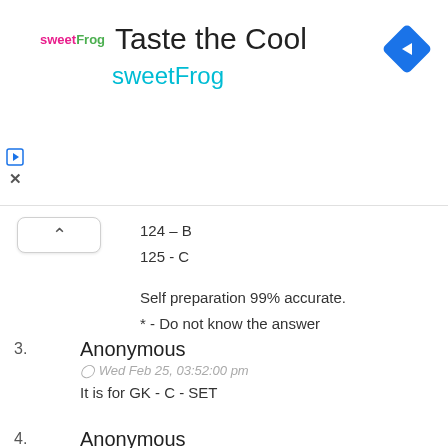[Figure (other): sweetFrog advertisement banner with logo, title 'Taste the Cool', brand name 'sweetFrog', navigation arrow icon, play and close icons]
124 – B
125 - C

Self preparation 99% accurate.
* - Do not know the answer
3. Anonymous
Wed Feb 25, 03:52:00 pm
It is for GK - C - SET
4. Anonymous
Wed Feb 25, 06:09:00 pm
I need GS also
5. Anonymous